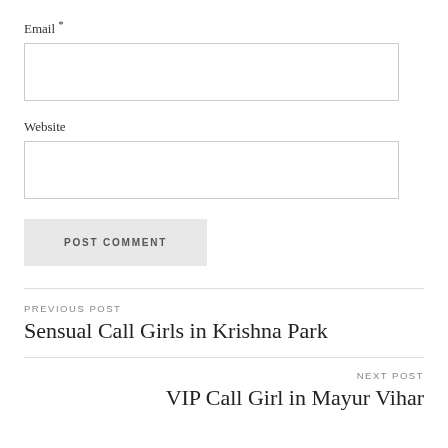Email *
[Figure (other): Empty email input text box]
Website
[Figure (other): Empty website input text box]
POST COMMENT
PREVIOUS POST
Sensual Call Girls in Krishna Park
NEXT POST
VIP Call Girl in Mayur Vihar